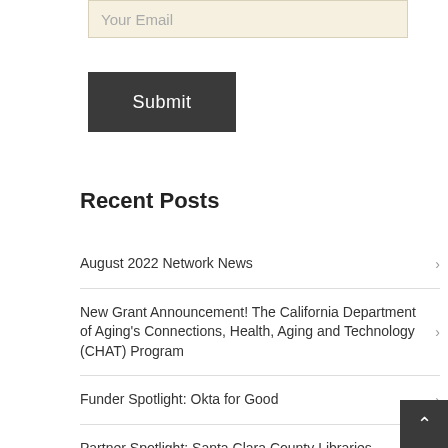Your Email
Submit
Recent Posts
August 2022 Network News
New Grant Announcement! The California Department of Aging's Connections, Health, Aging and Technology (CHAT) Program
Funder Spotlight: Okta for Good
Partner Spotlight: Santa Clara County Libraries
Staff Spotlight: ...